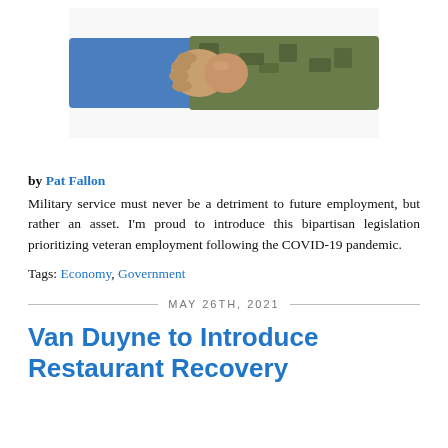[Figure (photo): Two people shaking hands — one in a blue dress shirt, the other in military camouflage uniform. Only the arms and hands are visible against a white background.]
by Pat Fallon
Military service must never be a detriment to future employment, but rather an asset. I'm proud to introduce this bipartisan legislation prioritizing veteran employment following the COVID-19 pandemic.
Tags: Economy, Government
MAY 26TH, 2021
Van Duyne to Introduce Restaurant Recovery